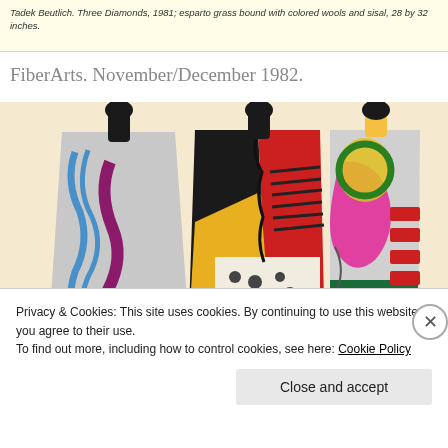Tadek Beutlich. Three Diamonds, 1981; esparto grass bound with colored wools and sisal, 28 by 32 inches.
FiberArts. November/December 1982.
[Figure (photo): Three colorful wearable art coats/capes displayed on mannequins. Left coat is gray with blue wavy lines and purple/red abstract shapes. Center coat is black and red with yellow geometric sections and polka dots. Right coat is gray with green, pink, yellow and red abstract designs.]
Privacy & Cookies: This site uses cookies. By continuing to use this website, you agree to their use.
To find out more, including how to control cookies, see here: Cookie Policy
Close and accept